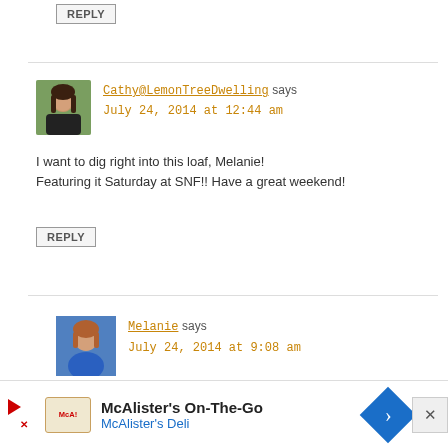REPLY
Cathy@LemonTreeDwelling says
July 24, 2014 at 12:44 am
I want to dig right into this loaf, Melanie! Featuring it Saturday at SNF!! Have a great weekend!
REPLY
Melanie says
July 24, 2014 at 9:08 am
Thanks for featuring Cathy! It's totally
[Figure (infographic): McAlister's On-The-Go advertisement banner with McAlister's Deli branding]
McAlister's On-The-Go
McAlister's Deli